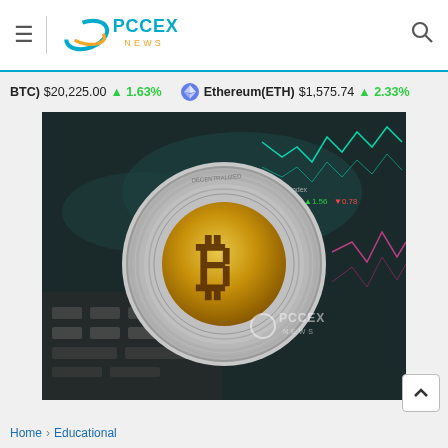PCCEX NEWS — navigation header with menu, logo, search
BTC) $20,225.00 ↑ 1.63%   Ethereum(ETH) $1,575.74 ↑ 2.33%
[Figure (photo): Bitcoin physical coin with gold B symbol on a blurred stock chart and world map background, with PCCEX NEWS watermark overlay]
Home › Educational